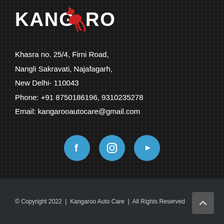[Figure (logo): Kangaroo Auto Care logo with white text KANGAROO and a red kangaroo silhouette icon]
Khasra no. 25/4, Firni Road,
Nangli Sakravati, Najafagarh,
New Delhi- 110043
Phone: +91 8750186196, 9310235278
Email: kangarooautocare@gmail.com
[Figure (infographic): Three social media icons: Facebook, Instagram, YouTube — blue circles with white icons]
© Copyright 2022  |  Kangaroo Auto Care  |  All Rights Reserved